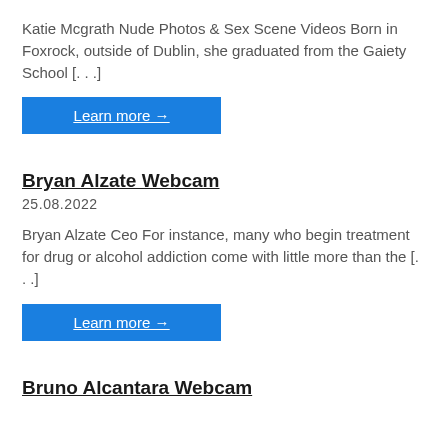Katie Mcgrath Nude Photos & Sex Scene Videos Born in Foxrock, outside of Dublin, she graduated from the Gaiety School [...]
Learn more →
Bryan Alzate Webcam
25.08.2022
Bryan Alzate Ceo For instance, many who begin treatment for drug or alcohol addiction come with little more than the [...]
Learn more →
Bruno Alcantara Webcam